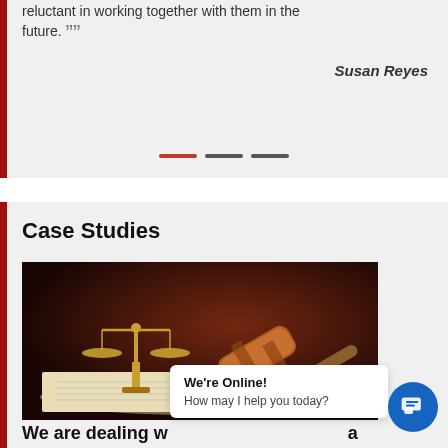reluctant in working together with them in the future. ””
Susan Reyes
[Figure (photo): Slider navigation dots: one red active dot and two dark inactive dots]
Case Studies
[Figure (photo): Photo of a legal gavel and scales of justice on an open book, dark brown background]
We are dealing ... a
We're Online!
How may I help you today?